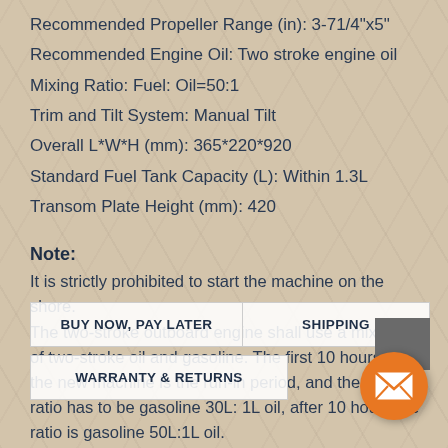Recommended Propeller Range (in): 3-71/4"x5"
Recommended Engine Oil: Two stroke engine oil
Mixing Ratio: Fuel: Oil=50:1
Trim and Tilt System: Manual Tilt
Overall L*W*H (mm): 365*220*920
Standard Fuel Tank Capacity (L): Within 1.3L
Transom Plate Height (mm): 420
Note:
It is strictly prohibited to start the machine on the shore.
The two-stroke outboard engine shall use a mixture of two-stroke oil and gasoline. The first 10 hours of the new machine is the run-in period, and the fuel ratio has to be gasoline 30L: 1L oil, after 10 hours the ratio is gasoline 50L:1L oil.
Make sure the petrol and oil mix well, otherwise it will damage the machine!
BUY NOW, PAY LATER
SHIPPING
WARRANTY & RETURNS